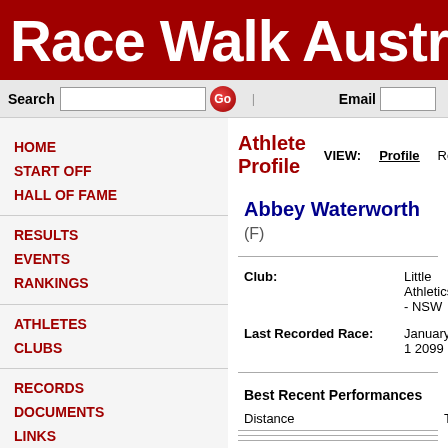Race Walk Austra
Search  Go  |  Email
Athlete Profile  VIEW: Profile  Results  Head 2 He
Abbey Waterworth (F)
Club: Little Athletics - NSW
Last Recorded Race: January 1 2099
Best Recent Performances
| Distance | Time | Points | Date |
| --- | --- | --- | --- |
All around points: 0
2013: 1 race  1100 metres completed.
2011: 1 race   700 metres completed.
HOME
START OFF
HALL OF FAME
RESULTS
EVENTS
RANKINGS
ATHLETES
CLUBS
RECORDS
DOCUMENTS
LINKS
CONTACT US
NEWSLETTERS